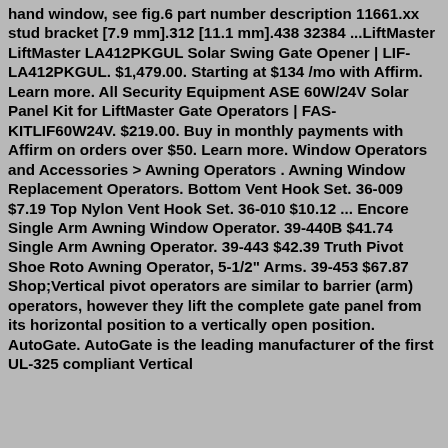hand window, see fig.6 part number description 11661.xx stud bracket [7.9 mm].312 [11.1 mm].438 32384 ...LiftMaster LiftMaster LA412PKGUL Solar Swing Gate Opener | LIF-LA412PKGUL. $1,479.00. Starting at $134 /mo with Affirm. Learn more. All Security Equipment ASE 60W/24V Solar Panel Kit for LiftMaster Gate Operators | FAS-KITLIF60W24V. $219.00. Buy in monthly payments with Affirm on orders over $50. Learn more. Window Operators and Accessories > Awning Operators . Awning Window Replacement Operators. Bottom Vent Hook Set. 36-009 $7.19 Top Nylon Vent Hook Set. 36-010 $10.12 ... Encore Single Arm Awning Window Operator. 39-440B $41.74 Single Arm Awning Operator. 39-443 $42.39 Truth Pivot Shoe Roto Awning Operator, 5-1/2" Arms. 39-453 $67.87 Shop;Vertical pivot operators are similar to barrier (arm) operators, however they lift the complete gate panel from its horizontal position to a vertically open position. AutoGate. AutoGate is the leading manufacturer of the first UL-325 compliant Vertical